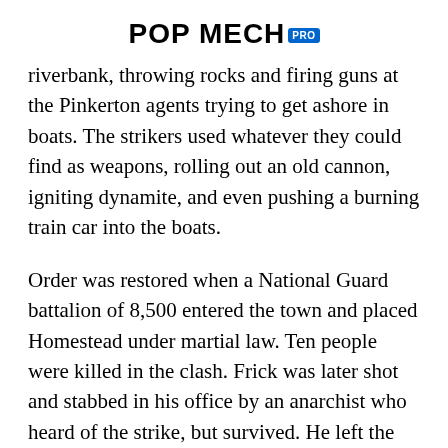POP MECH PRO
riverbank, throwing rocks and firing guns at the Pinkerton agents trying to get ashore in boats. The strikers used whatever they could find as weapons, rolling out an old cannon, igniting dynamite, and even pushing a burning train car into the boats.
Order was restored when a National Guard battalion of 8,500 entered the town and placed Homestead under martial law. Ten people were killed in the clash. Frick was later shot and stabbed in his office by an anarchist who heard of the strike, but survived. He left the company shortly after, and in 1897, Carnegie hired an